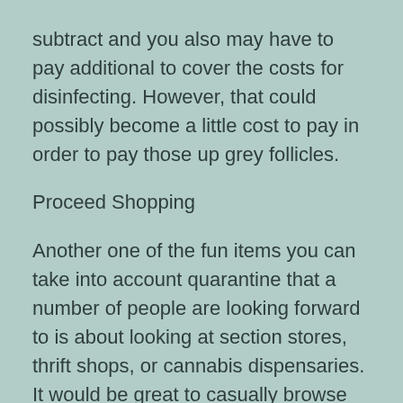subtract and you also may have to pay additional to cover the costs for disinfecting. However, that could possibly become a little cost to pay in order to pay those up grey follicles.
Proceed Shopping
Another one of the fun items you can take into account quarantine that a number of people are looking forward to is about looking at section stores, thrift shops, or cannabis dispensaries. It would be great to casually browse the racks with out to don a mask and